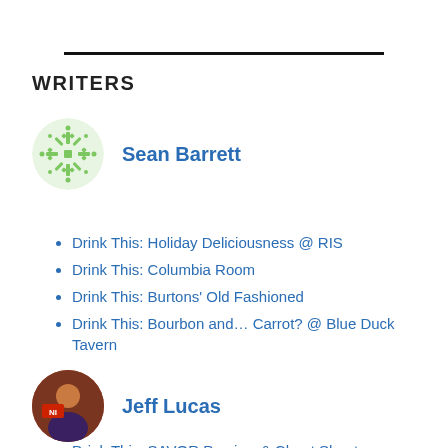WRITERS
[Figure (illustration): Circular avatar with green snowflake/geometric pattern for Sean Barrett]
Sean Barrett
Drink This: Holiday Deliciousness @ RIS
Drink This: Columbia Room
Drink This: Burtons' Old Fashioned
Drink This: Bourbon and… Carrot? @ Blue Duck Tavern
[Figure (photo): Circular photo of Jeff Lucas]
Jeff Lucas
Drink This: SAVOR Preview & Cheat Sheet